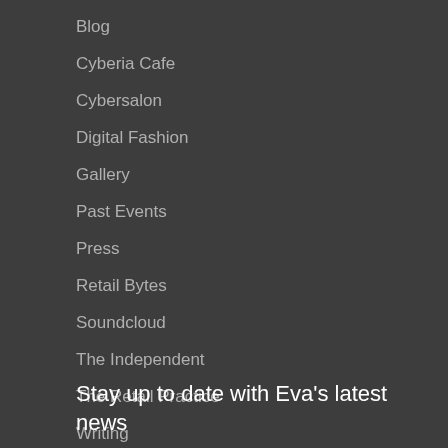Blog
Cyberia Cafe
Cybersalon
Digital Fashion
Gallery
Past Events
Press
Retail Bytes
Soundcloud
The Independent
The Retail Practice
Writing
Stay up to date with Eva's latest news